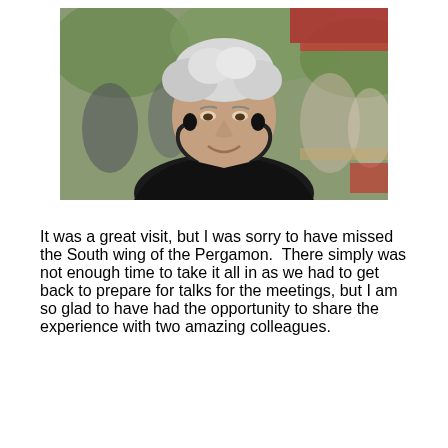[Figure (photo): A middle-aged man with grey-white hair smiling, wearing a dark jacket over a plaid shirt with headphones around his neck. Background shows a blurred outdoor café scene with other people.]
It was a great visit, but I was sorry to have missed the South wing of the Pergamon.  There simply was not enough time to take it all in as we had to get back to prepare for talks for the meetings, but I am so glad to have had the opportunity to share the experience with two amazing colleagues.